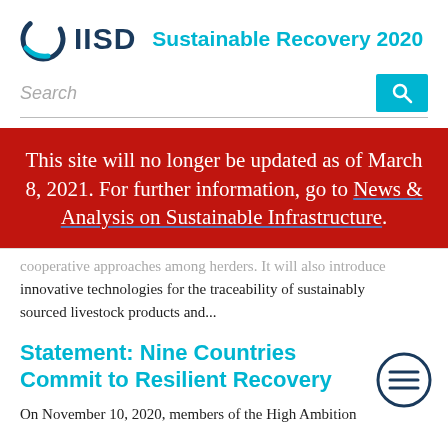IISD Sustainable Recovery 2020
Search
This site will no longer be updated as of March 8, 2021. For further information, go to News & Analysis on Sustainable Infrastructure.
cooperative approaches among herders. It will also introduce innovative technologies for the traceability of sustainably sourced livestock products and...
Statement: Nine Countries Commit to Resilient Recovery
On November 10, 2020, members of the High Ambition